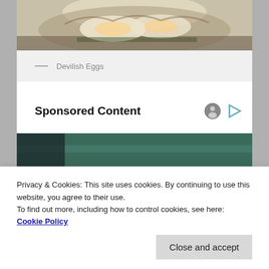[Figure (photo): Top portion of a food photo showing what appears to be deviled eggs on a plate, cropped at the top]
— Devilish Eggs
Sponsored Content
[Figure (photo): Two people wearing sunglasses seated at what appears to be a sporting event (likely Wimbledon), a man in a suit and a woman with long brown hair]
Privacy & Cookies: This site uses cookies. By continuing to use this website, you agree to their use.
To find out more, including how to control cookies, see here: Cookie Policy
Close and accept